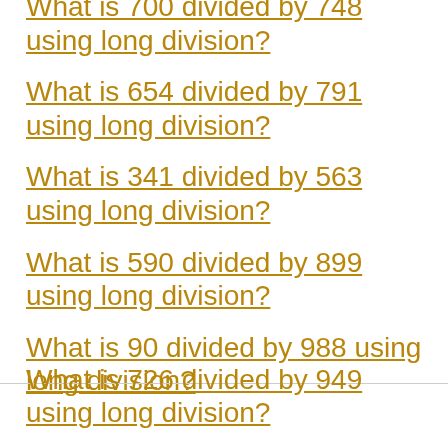What is 700 divided by 748 using long division?
What is 654 divided by 791 using long division?
What is 341 divided by 563 using long division?
What is 590 divided by 899 using long division?
What is 90 divided by 988 using long division?
What is 726 divided by 949 using long division?